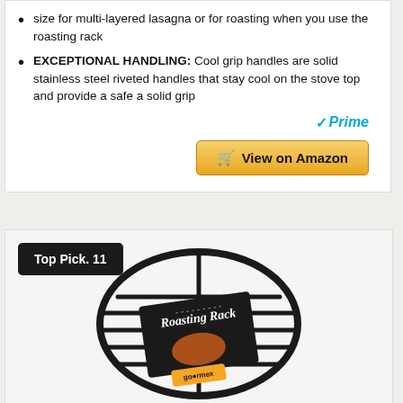size for multi-layered lasagna or for roasting when you use the roasting rack
EXCEPTIONAL HANDLING: Cool grip handles are solid stainless steel riveted handles that stay cool on the stove top and provide a safe a solid grip
[Figure (logo): Amazon Prime logo with checkmark]
[Figure (photo): View on Amazon button with shopping cart icon]
Top Pick. 11
[Figure (photo): Roasting rack product photo - a circular black metal roasting rack with Goarmex branding and product packaging showing roasted meat]